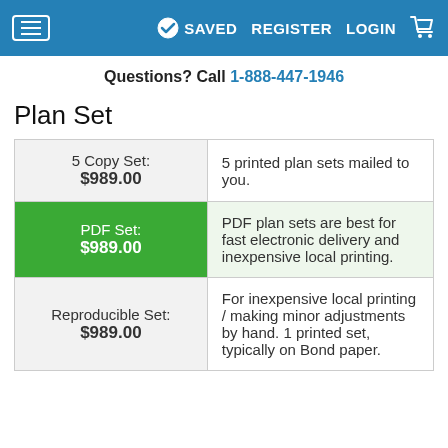SAVED  REGISTER  LOGIN
Questions? Call 1-888-447-1946
Plan Set
| Plan Set Option | Description |
| --- | --- |
| 5 Copy Set: $989.00 | 5 printed plan sets mailed to you. |
| PDF Set: $989.00 | PDF plan sets are best for fast electronic delivery and inexpensive local printing. |
| Reproducible Set: $989.00 | For inexpensive local printing / making minor adjustments by hand. 1 printed set, typically on Bond paper. |